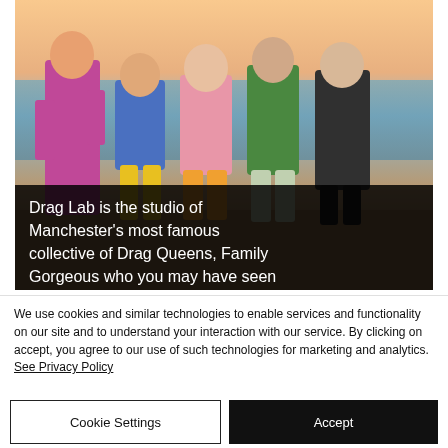[Figure (photo): Group of colorfully dressed drag queens posing on a seafront promenade at sunset. They wear vibrant costumes including patterned jumpsuits, swimwear, robes and dramatic makeup. Overlaid dark text box reads: 'Drag Lab is the studio of Manchester's most famous collective of Drag Queens, Family Gorgeous who you may have seen']
We use cookies and similar technologies to enable services and functionality on our site and to understand your interaction with our service. By clicking on accept, you agree to our use of such technologies for marketing and analytics. See Privacy Policy